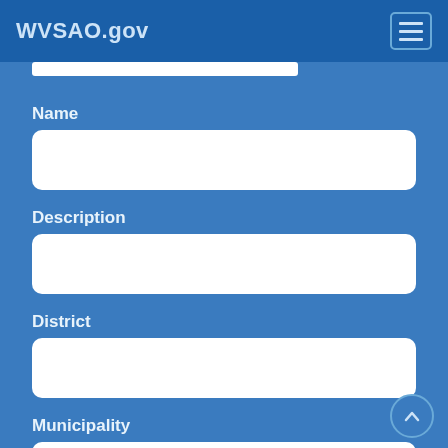WVSAO.gov
Name
Description
District
Municipality
Map